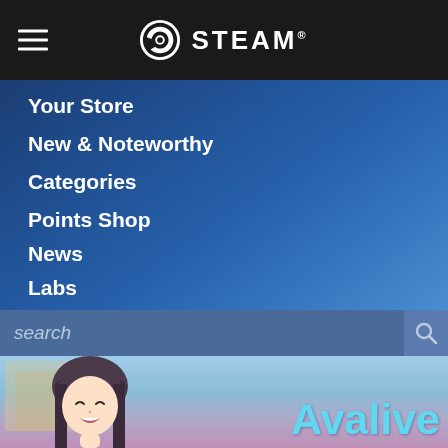STEAM navigation header with hamburger menu and Steam logo
Your Store
New & Noteworthy
Categories
Points Shop
News
Labs
search
[Figure (screenshot): Bottom portion of Steam mobile app showing an anime character and the text 'Avalive' in light blue on a blurred outdoor background]